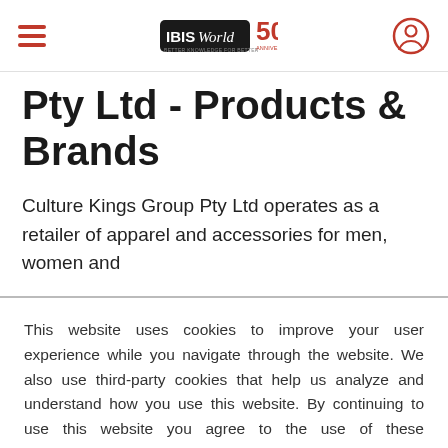IBISWorld 50th Anniversary — navigation bar
Pty Ltd - Products & Brands
Culture Kings Group Pty Ltd operates as a retailer of apparel and accessories for men, women and
This website uses cookies to improve your user experience while you navigate through the website. We also use third-party cookies that help us analyze and understand how you use this website. By continuing to use this website you agree to the use of these technologies. LEARN MORE
ACCEPT